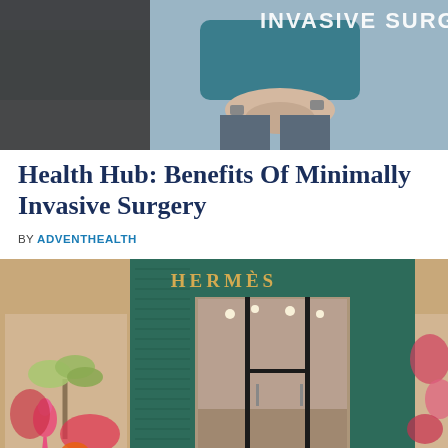[Figure (photo): Photo of a person stretching outdoors in the snow, with text 'INVASIVE SURG' partially visible in upper right corner]
Health Hub: Benefits Of Minimally Invasive Surgery
BY ADVENTHEALTH
[Figure (photo): Photo of a Hermès store front with teal/green tiled archway entrance and colorful tropical window displays with flamingos and palm trees]